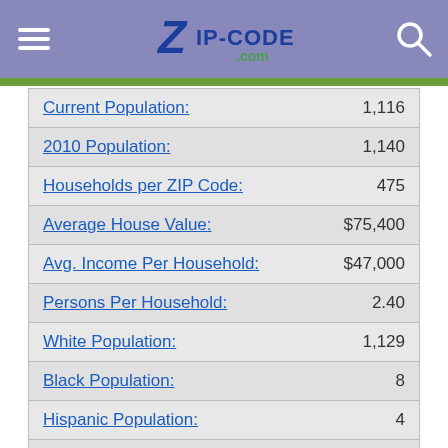Zip-Codes.com
| Category | Value |
| --- | --- |
| Current Population: | 1,116 |
| 2010 Population: | 1,140 |
| Households per ZIP Code: | 475 |
| Average House Value: | $75,400 |
| Avg. Income Per Household: | $47,000 |
| Persons Per Household: | 2.40 |
| White Population: | 1,129 |
| Black Population: | 8 |
| Hispanic Population: | 4 |
| Asian Population: | 2 |
| American Indian Population: | 2 |
| Hawaiian Population: | 1 |